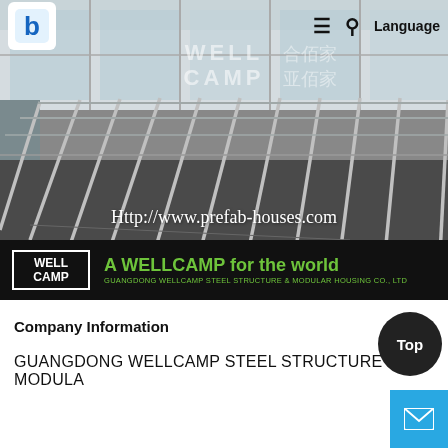[Figure (photo): Interior of a prefab steel structure building showing steel frame floor beams/purlins laid out on a concrete floor, with windows and natural light visible in the background. Watermark text reads 'WELL CAMP 合佰家' and URL 'Http://www.prefab-houses.com' is overlaid.]
[Figure (logo): WELLCAMP brand bar at bottom of photo: black background with WELLCAMP logo in white bordered box on left, green text 'A WELLCAMP for the world' in center, and green subtext 'GUANGDONG WELLCAMP STEEL STRUCTURE & MODULAR HOUSING CO., LTD']
Company Information
GUANGDONG WELLCAMP STEEL STRUCTURE & MODULA